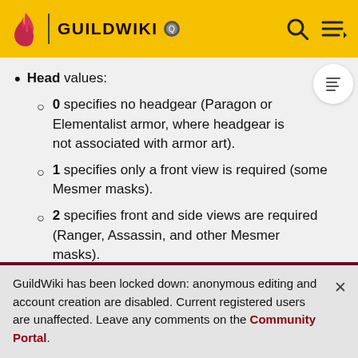GUILDWIKI
Head values:
0 specifies no headgear (Paragon or Elementalist armor, where headgear is not associated with armor art).
1 specifies only a front view is required (some Mesmer masks).
2 specifies front and side views are required (Ranger, Assassin, and other Mesmer masks).
3 specifies that front, side, and rear views are needed (Warrior helms, Ritualist headdresses,
GuildWiki has been locked down: anonymous editing and account creation are disabled. Current registered users are unaffected. Leave any comments on the Community Portal.